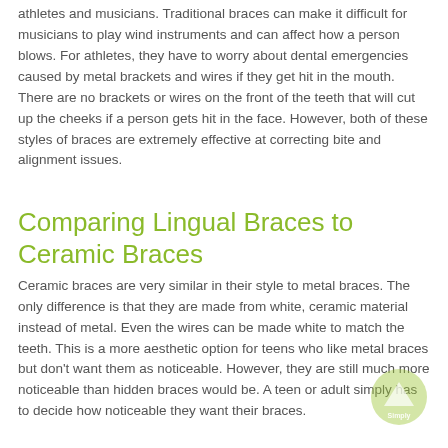athletes and musicians. Traditional braces can make it difficult for musicians to play wind instruments and can affect how a person blows. For athletes, they have to worry about dental emergencies caused by metal brackets and wires if they get hit in the mouth. There are no brackets or wires on the front of the teeth that will cut up the cheeks if a person gets hit in the face. However, both of these styles of braces are extremely effective at correcting bite and alignment issues.
Comparing Lingual Braces to Ceramic Braces
Ceramic braces are very similar in their style to metal braces. The only difference is that they are made from white, ceramic material instead of metal. Even the wires can be made white to match the teeth. This is a more aesthetic option for teens who like metal braces but don't want them as noticeable. However, they are still much more noticeable than hidden braces would be. A teen or adult simply has to decide how noticeable they want their braces.